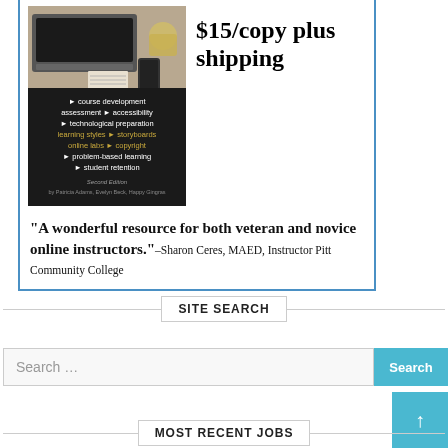[Figure (illustration): Book cover showing laptops on a desk and course topics listed in white and gold text on black background. Second Edition by Patricia Adams, Evelyn Beck, Happy Gingras.]
$15/copy plus shipping
“A wonderful resource for both veteran and novice online instructors.”–Sharon Ceres, MAED, Instructor Pitt Community College
SITE SEARCH
Search …
Search
MOST RECENT JOBS